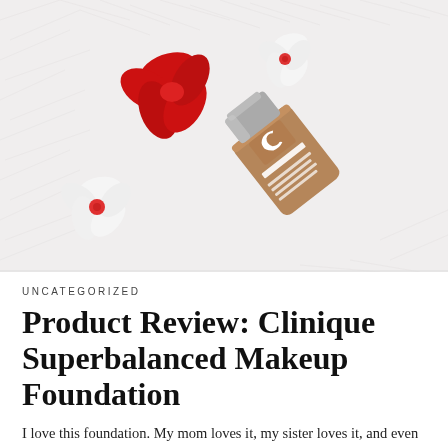[Figure (photo): A Clinique Superbalanced Makeup Foundation bottle lying diagonally on a fluffy white fur surface, alongside a red flower and white flowers with red centers.]
UNCATEGORIZED
Product Review: Clinique Superbalanced Makeup Foundation
I love this foundation. My mom loves it, my sister loves it, and even my grandma loves it. My grandma has beautiful skin, and she…